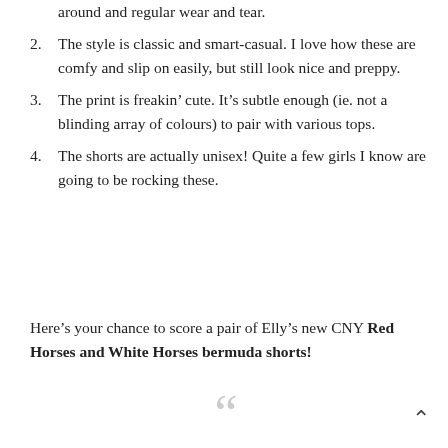around and regular wear and tear.
2. The style is classic and smart-casual. I love how these are comfy and slip on easily, but still look nice and preppy.
3. The print is freakin’ cute. It’s subtle enough (ie. not a blinding array of colours) to pair with various tops.
4. The shorts are actually unisex! Quite a few girls I know are going to be rocking these.
Here’s your chance to score a pair of Elly’s new CNY Red Horses and White Horses bermuda shorts!